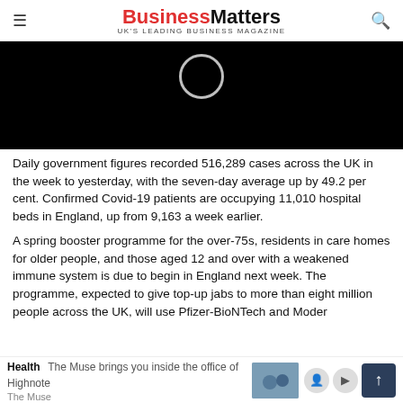BusinessMatters — UK'S LEADING BUSINESS MAGAZINE
[Figure (screenshot): Black video player area with a circular loading spinner outline in the center-top]
Daily government figures recorded 516,289 cases across the UK in the week to yesterday, with the seven-day average up by 49.2 per cent. Confirmed Covid-19 patients are occupying 11,010 hospital beds in England, up from 9,163 a week earlier.
A spring booster programme for the over-75s, residents in care homes for older people, and those aged 12 and over with a weakened immune system is due to begin in England next week. The programme, expected to give top-up jabs to more than eight million people across the UK, will use Pfizer-BioNTech and Moder
The Muse brings you inside the office of Highnote — Health · The Muse